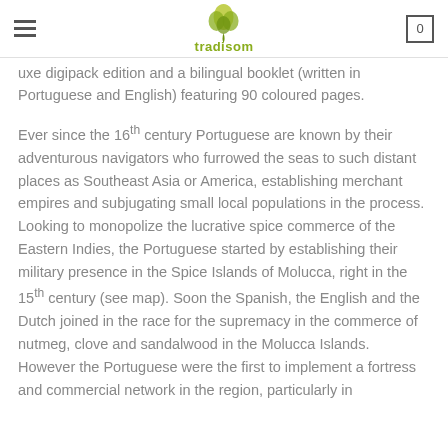tradisom
uxe digipack edition and a bilingual booklet (written in Portuguese and English) featuring 90 coloured pages.
Ever since the 16th century Portuguese are known by their adventurous navigators who furrowed the seas to such distant places as Southeast Asia or America, establishing merchant empires and subjugating small local populations in the process. Looking to monopolize the lucrative spice commerce of the Eastern Indies, the Portuguese started by establishing their military presence in the Spice Islands of Molucca, right in the 15th century (see map). Soon the Spanish, the English and the Dutch joined in the race for the supremacy in the commerce of nutmeg, clove and sandalwood in the Molucca Islands. However the Portuguese were the first to implement a fortress and commercial network in the region, particularly in